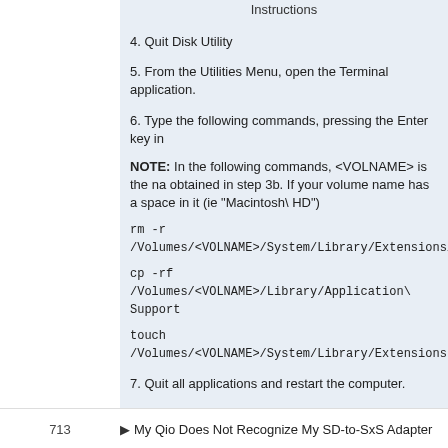Instructions
4. Quit Disk Utility
5. From the Utilities Menu, open the Terminal application.
6. Type the following commands, pressing the Enter key in
NOTE: In the following commands, <VOLNAME> is the na obtained in step 3b. If your volume name has a space in it (ie "Macintosh\ HD")
rm -r /Volumes/<VOLNAME>/System/Library/Extensions/S
cp -rf /Volumes/<VOLNAME>/Library/Application\ Support
touch /Volumes/<VOLNAME>/System/Library/Extensions
7. Quit all applications and restart the computer.
713   ▶ My Qio Does Not Recognize My SD-to-SxS Adapter